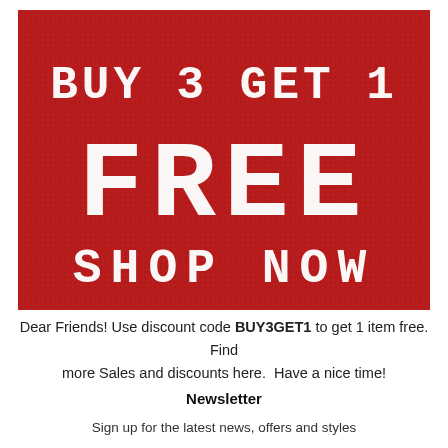[Figure (infographic): Red promotional banner with pixel/knit-style white text reading 'BUY 3 GET 1 FREE SHOP NOW' on a dark red background with a grid/dot texture overlay]
Dear Friends! Use discount code BUY3GET1 to get 1 item free. Find more Sales and discounts here.  Have a nice time!
Newsletter
Sign up for the latest news, offers and styles